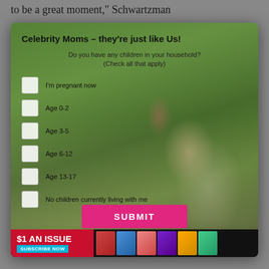to be a great moment," Schwartzman
[Figure (photo): Modal popup overlay on a webpage showing a woman holding two children outdoors on a patio/deck with greenery in the background. The modal contains a survey form titled 'Celebrity Moms – they're just like Us!' with checkboxes for children's ages. Below is a magazine subscription banner.]
Celebrity Moms – they're just like Us!
Do you have any children in your household?
(Check all that apply)
I'm pregnant now
Age 0-2
Age 3-5
Age 6-12
Age 13-17
No children currently living with me
SUBMIT
$1 AN ISSUE  SUBSCRIBE NOW